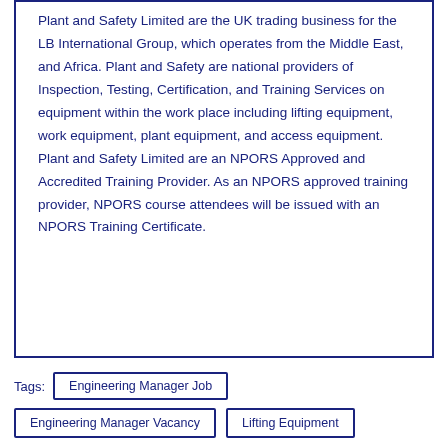Plant and Safety Limited are the UK trading business for the LB International Group, which operates from the Middle East, and Africa. Plant and Safety are national providers of Inspection, Testing, Certification, and Training Services on equipment within the work place including lifting equipment, work equipment, plant equipment, and access equipment. Plant and Safety Limited are an NPORS Approved and Accredited Training Provider. As an NPORS approved training provider, NPORS course attendees will be issued with an NPORS Training Certificate.
Tags: Engineering Manager Job
Engineering Manager Vacancy
Lifting Equipment